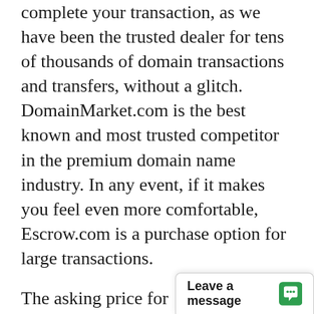complete your transaction, as we have been the trusted dealer for tens of thousands of domain transactions and transfers, without a glitch. DomainMarket.com is the best known and most trusted competitor in the premium domain name industry. In any event, if it makes you feel even more comfortable, Escrow.com is a purchase option for large transactions.
The asking price for CelebrityPornography.com is based on a careful and professional appraisal by the world's leading experts on domain valuations, the inventors of ecommerce for premium domains. The price is explicitly certified to be fair by real experts, so the buyer can be confident in the great long-term value and investment opportunity for the unique domain asset in quest
Your competition for...
Leave a message